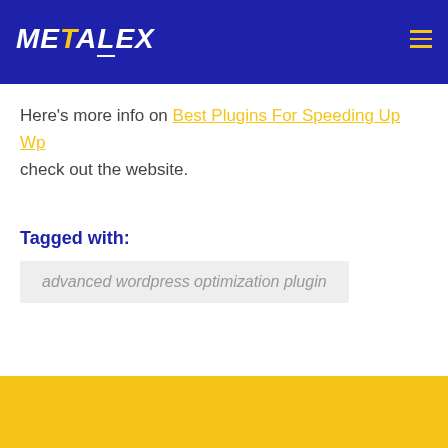METALEX
Here's more info on Best Plugins For Speeding Up Wp check out the website.
Tagged with:
advanced wordpress optimization plugin